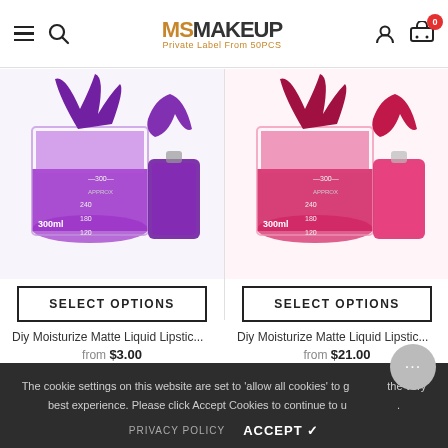[Figure (screenshot): MS MAKEUP website header with hamburger menu, search icon, logo reading MS MAKEUP Private Label From 50PCS, user icon, and cart icon with badge showing 0]
[Figure (photo): Purple liquid lipstick pouring into a 300ml beaker with a small pouch packet beside it]
SELECT OPTIONS
Diy Moisturize Matte Liquid Lipstic...
from $3.00
[Figure (photo): Red/pink liquid lipstick pouring into a 300ml beaker with a small pouch packet beside it]
SELECT OPTIONS
Diy Moisturize Matte Liquid Lipstic...
from $21.00
The cookie settings on this website are set to 'allow all cookies' to give you the very best experience. Please click Accept Cookies to continue to use the site.
PRIVACY POLICY
ACCEPT ✓